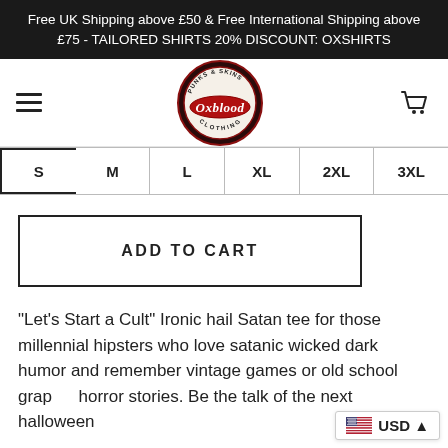Free UK Shipping above £50 & Free International Shipping above £75 - TAILORED SHIRTS 20% DISCOUNT: OXSHIRTS
[Figure (logo): Oxblood Clothing logo - circular badge with 'Punks & Skins' text around the top, 'Oxblood' in red cursive lettering across the center, 'Clothing' along the bottom, dark red/maroon circular badge design]
| S | M | L | XL | 2XL | 3XL |
| --- | --- | --- | --- | --- | --- |
ADD TO CART
"Let's Start a Cult" Ironic hail Satan tee for those millennial hipsters who love satanic wicked dark humor and remember vintage games or old school grap horror stories. Be the talk of the next halloween